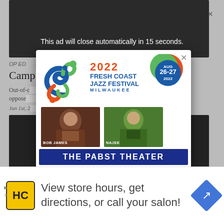This ad will close automatically in 15 seconds.
[Figure (screenshot): Background webpage showing article 'Campus Courts' OP ED with dark image areas and partial headline text about out-of-court rules]
[Figure (infographic): 2022 Fresh Coast Jazz Festival Milwaukee advertisement. AUG 26-27 2022 at The Pabst Theater. Featuring Bob James and Najee. Get tickets at freshcoastjazz.com + pabsttheatergroup.com]
View store hours, get directions, or call your salon!